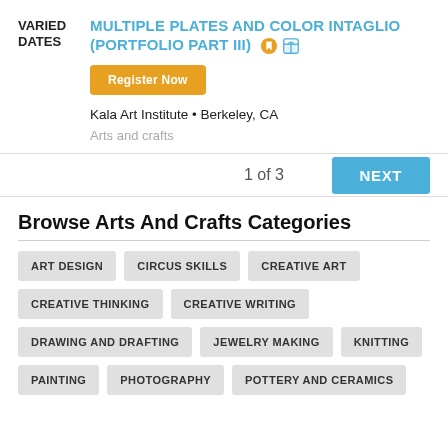VARIED DATES
MULTIPLE PLATES AND COLOR INTAGLIO (PORTFOLIO PART III)
Register Now
Kala Art Institute • Berkeley, CA
Arts and crafts
1 of 3
NEXT
Browse Arts And Crafts Categories
ART DESIGN
CIRCUS SKILLS
CREATIVE ART
CREATIVE THINKING
CREATIVE WRITING
DRAWING AND DRAFTING
JEWELRY MAKING
KNITTING
PAINTING
PHOTOGRAPHY
POTTERY AND CERAMICS